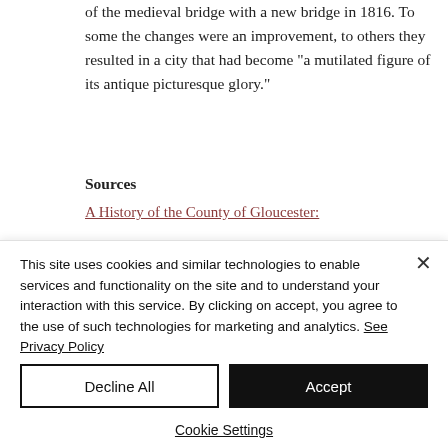of the medieval bridge with a new bridge in 1816. To some the changes were an improvement, to others they resulted in a city that had become "a mutilated figure of its antique picturesque glory."
Sources
A History of the County of Gloucester:
This site uses cookies and similar technologies to enable services and functionality on the site and to understand your interaction with this service. By clicking on accept, you agree to the use of such technologies for marketing and analytics. See Privacy Policy